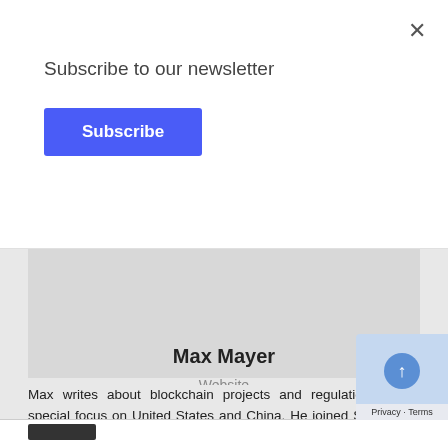Subscribe to our newsletter
Subscribe
Max Mayer
Website
Max writes about blockchain projects and regulation with a special focus on United States and China. He joined Smarterum after years of writing for various media outle…